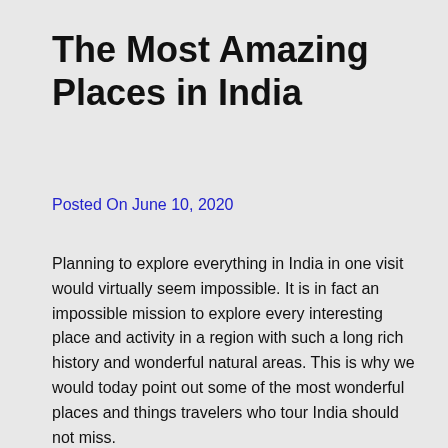The Most Amazing Places in India
Posted On June 10, 2020
Planning to explore everything in India in one visit would virtually seem impossible. It is in fact an impossible mission to explore every interesting place and activity in a region with such a long rich history and wonderful natural areas. This is why we would today point out some of the most wonderful places and things travelers who tour India should not miss.
One of the most interesting sites travelers who visit India should explore is surely Hampi. Established in the 14th century AD, Hampi used to host the capital of the Vijayanagara Empire that flourished for more than 4 centuries. Today, the ruins and monuments of the city are spread over a huge surface area. Several travel packages to India include a visit to this distinctive historical site.
The most popular historical site of India is certainly Taj Mahal.